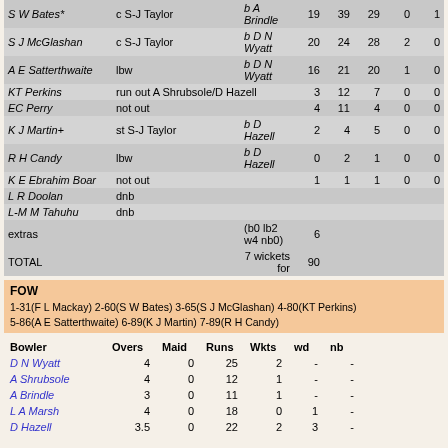| Batsman | How out | Bowler | R | B | M | 4s | 6s |
| --- | --- | --- | --- | --- | --- | --- | --- |
| S W Bates* | c S-J Taylor | b A Brindle | 19 | 39 | 29 | 0 | 1 |
| S J McGlashan | c S-J Taylor | b D N Wyatt | 20 | 24 | 28 | 2 | 0 |
| A E Satterthwaite | lbw | b D N Wyatt | 16 | 21 | 20 | 1 | 0 |
| KT Perkins | run out A Shrubsole/D Hazell |  | 3 | 12 | 7 | 0 | 0 |
| EC Perry | not out |  | 4 | 11 | 4 | 0 | 0 |
| K J Martin+ | st S-J Taylor | b D Hazell | 2 | 4 | 5 | 0 | 0 |
| R H Candy | lbw | b D Hazell | 0 | 2 | 1 | 0 | 0 |
| K E Ebrahim Boar | not out |  | 1 | 1 | 1 | 0 | 0 |
| L R Doolan | dnb |  |  |  |  |  |  |
| L-M M Tahuhu | dnb |  |  |  |  |  |  |
| extras |  | (b0 lb2 w4 nb0) | 6 |  |  |  |  |
| TOTAL |  | 7 wickets for | 90 |  |  |  |  |
FOW
1-31(F L Mackay) 2-60(S W Bates) 3-65(S J McGlashan) 4-80(KT Perkins) 5-86(A E Satterthwaite) 6-89(K J Martin) 7-89(R H Candy)
| Bowler | Overs | Maid | Runs | Wkts | wd | nb |
| --- | --- | --- | --- | --- | --- | --- |
| D N Wyatt | 4 | 0 | 25 | 2 | - | - |
| A Shrubsole | 4 | 0 | 12 | 1 | - | - |
| A Brindle | 3 | 0 | 11 | 1 | - | - |
| L A Marsh | 4 | 0 | 18 | 0 | 1 | - |
| D Hazell | 3.5 | 0 | 22 | 2 | 3 | - |
Last updated 03-May-2019. Send comments to Marion Collin about this web page.